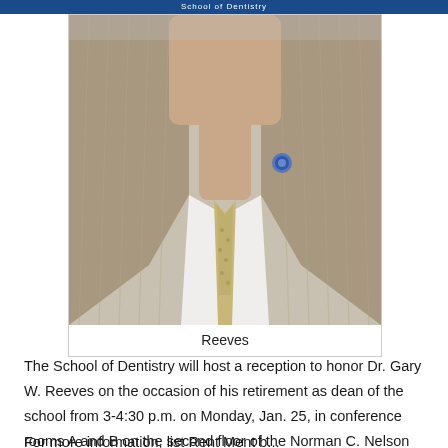School of Dentistry
[Figure (photo): Headshot of Dr. Gary W. Reeves wearing a light gray suit jacket, white dress shirt, patterned tie, and a blue lapel pin. The photo is a professional portrait.]
Reeves
The School of Dentistry will host a reception to honor Dr. Gary W. Reeves on the occasion of his retirement as dean of the school from 3-4:30 p.m. on Monday, Jan. 25, in conference rooms A and B on the second floor of the Norman C. Nelson Student Union.
For more information, listRent Ment b...